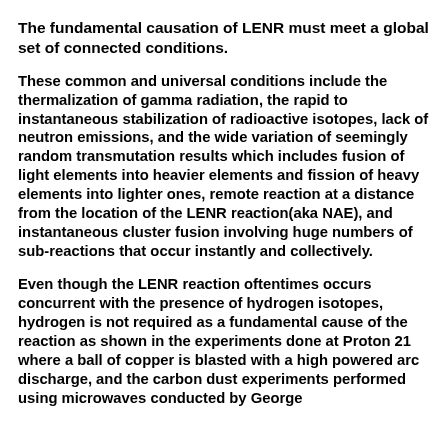The fundamental causation of LENR must meet a global set of connected conditions.
These common and universal conditions include the thermalization of gamma radiation, the rapid to instantaneous stabilization of radioactive isotopes, lack of neutron emissions, and the wide variation of seemingly random transmutation results which includes fusion of light elements into heavier elements and fission of heavy elements into lighter ones, remote reaction at a distance from the location of the LENR reaction(aka NAE), and instantaneous cluster fusion involving huge numbers of sub-reactions that occur instantly and collectively.
Even though the LENR reaction oftentimes occurs concurrent with the presence of hydrogen isotopes, hydrogen is not required as a fundamental cause of the reaction as shown in the experiments done at Proton 21 where a ball of copper is blasted with a high powered arc discharge, and the carbon dust experiments performed using microwaves conducted by George